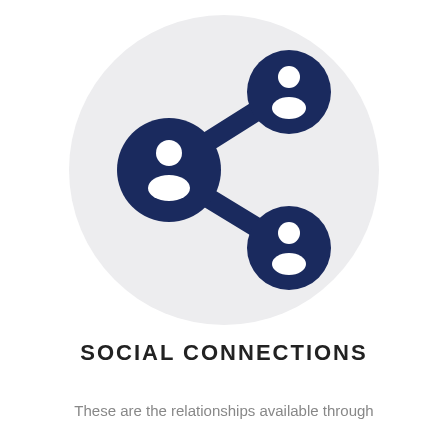[Figure (illustration): A social connections icon: a share/network symbol with three dark navy circles each containing a white person silhouette, connected by thick dark navy lines, set on a light gray circular background.]
SOCIAL CONNECTIONS
These are the relationships available through